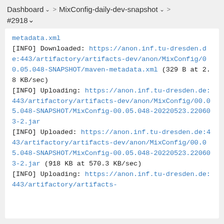Dashboard > MixConfig-daily-dev-snapshot > > #2918
metadata.xml
[INFO] Downloaded: https://anon.inf.tu-dresden.de:443/artifactory/artifacts-dev/anon/MixConfig/00.05.048-SNAPSHOT/maven-metadata.xml (329 B at 2.8 KB/sec)
[INFO] Uploading: https://anon.inf.tu-dresden.de:443/artifactory/artifacts-dev/anon/MixConfig/00.05.048-SNAPSHOT/MixConfig-00.05.048-20220523.220603-2.jar
[INFO] Uploaded: https://anon.inf.tu-dresden.de:443/artifactory/artifacts-dev/anon/MixConfig/00.05.048-SNAPSHOT/MixConfig-00.05.048-20220523.220603-2.jar (918 KB at 570.3 KB/sec)
[INFO] Uploading: https://anon.inf.tu-dresden.de:443/artifactory/artifacts-